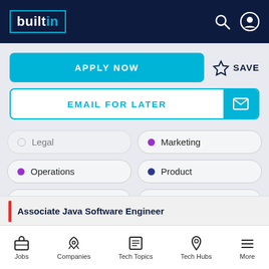builtin
APPLY NOW
SAVE
EMAIL FOR LATER
Legal
Marketing
Operations
Product
Project Mgmt
Sales
Associate Java Software Engineer
Jobs  Companies  Tech Topics  Tech Hubs  More